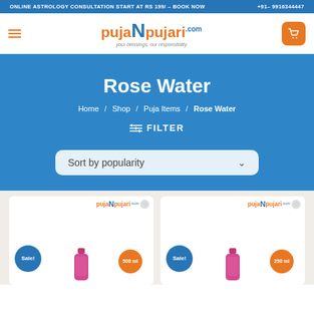ONLINE ASTROLOGY CONSULTATION START AT RS 199/ - BOOK NOW   +91- 9916344447
[Figure (logo): pujaNpujari.com logo with tagline and hamburger menu and cart button]
Rose Water
Home / Shop / Puja Items / Rose Water
FILTER
Sort by popularity
[Figure (photo): Two product cards showing Rose Water bottles with Sale! badges, 500 ml and 250 ml volume labels, on a beige background]